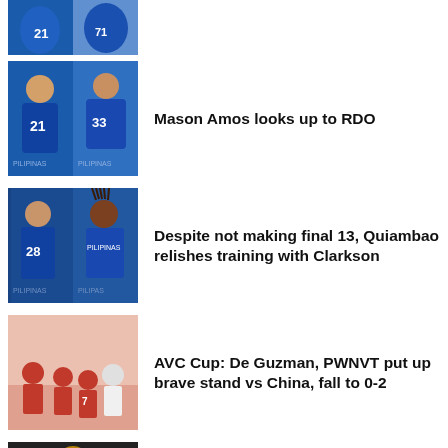[Figure (photo): Partial basketball photo at top, players in blue Pilipinas jerseys]
[Figure (photo): Basketball players in blue Pilipinas jerseys, numbers 21 and 33]
Mason Amos looks up to RDO
[Figure (photo): Two basketball players in Pilipinas jerseys, numbers 28 and another]
Despite not making final 13, Quiambao relishes training with Clarkson
[Figure (photo): Volleyball players in red and white uniforms, AVC Cup match]
AVC Cup: De Guzman, PWNVT put up brave stand vs China, fall to 0-2
[Figure (photo): Basketball player in yellow jersey with head down]
Filoil: Sajonia, FEU sink short-handed UE, punch last semis ticket